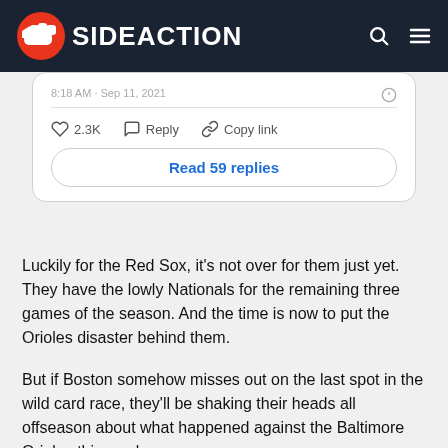SIDEACTION
[Figure (screenshot): Tweet card with timestamp '8:18 AM · Sep 11, 2021', 2.3K likes, Reply, Copy link actions, and a 'Read 59 replies' button]
Luckily for the Red Sox, it's not over for them just yet. They have the lowly Nationals for the remaining three games of the season. And the time is now to put the Orioles disaster behind them.
But if Boston somehow misses out on the last spot in the wild card race, they'll be shaking their heads all offseason about what happened against the Baltimore Orioles this week.